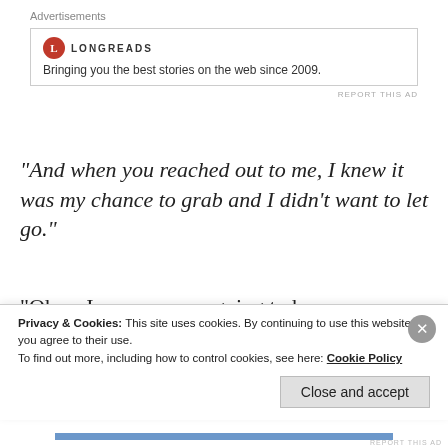[Figure (screenshot): Advertisement banner with Longreads logo and text 'Bringing you the best stories on the web since 2009.']
"And when you reached out to me, I knew it was my chance to grab and I didn’t want to let go."
“Okay, I anyways am going to have a sleepless night today because of a functions assignment. Sleep tight and good night! “
Privacy & Cookies: This site uses cookies. By continuing to use this website, you agree to their use. To find out more, including how to control cookies, see here: Cookie Policy
Close and accept